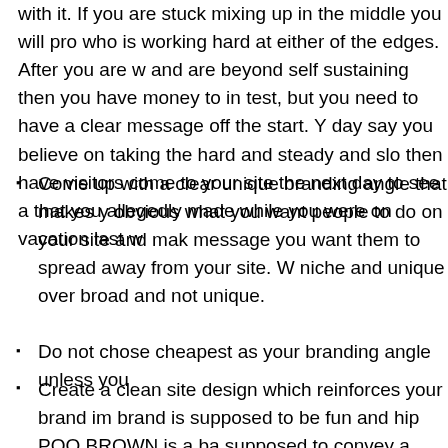with it. If you are stuck mixing up in the middle you will pro who is working hard at either of the edges. After you are w and are beyond self sustaining then you have money to in test, but you need to have a clear message off the start. Y day say you believe on taking the hard and steady and slo then have visitors come to your site the next day to see a that you allegedly made while you were on vacation last w
Come up with a clear unique branding angle that makes y obvious what you want people to do on your site and mak message you want them to spread away from your site. W niche and unique over broad and not unique.
Do not chose cheapest as your branding angle unless you
Create a clean site design which reinforces your brand im brand is supposed to be fun and hip POO BROWN is a ba supposed to convey a sense of trust to businesses or peo lean on red and orange. I typically favor clean over going can find a good priced logo designer and spend a day lea create a reasonably decent looking site for around $100.
If you are unsure of what you want to do participate in topi about the market and what the market wants. If all of your site and it is not backed up by friendships away from your